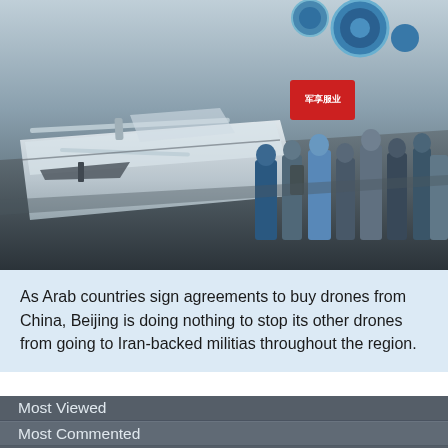[Figure (photo): Aerial/overhead view of a drone/UAV exhibition hall with multiple drone models on white display stands. Visitors browse the exhibition. Red Chinese banner visible at right. Blue circular ceiling decorations visible at upper right.]
As Arab countries sign agreements to buy drones from China, Beijing is doing nothing to stop its other drones from going to Iran-backed militias throughout the region.
Most Viewed
Most Commented
Emergency food aid saves Lebanese citizens, refugees from starvation